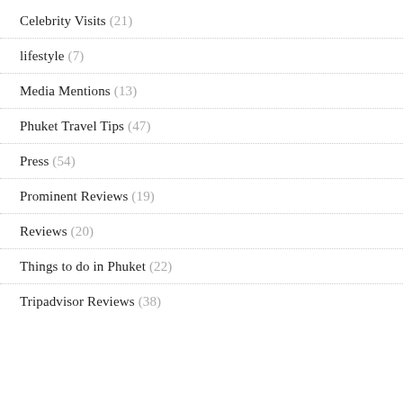Celebrity Visits (21)
lifestyle (7)
Media Mentions (13)
Phuket Travel Tips (47)
Press (54)
Prominent Reviews (19)
Reviews (20)
Things to do in Phuket (22)
Tripadvisor Reviews (38)